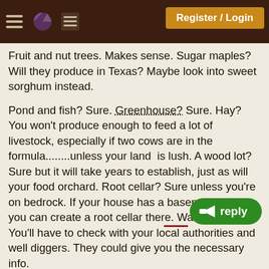Register / Login
Fruit and nut trees. Makes sense. Sugar maples? Will they produce in Texas? Maybe look into sweet sorghum instead.
Pond and fish? Sure. Greenhouse? Sure. Hay? You won't produce enough to feed a lot of livestock, especially if two cows are in the formula........unless your land is lush. A wood lot? Sure but it will take years to establish, just as will your food orchard. Root cellar? Sure unless you're on bedrock. If your house has a basement, then you can create a root cellar there. Water well? You'll have to check with your local authorities and well diggers. They could give you the necessary info.
Energy needs? That depends. A solar or wind system will initially cost a lot of money, depending upon your energy needs. And it costs money and experience/knowledge to maintain. It isn't easy. I'm totally off grid. I'm happy with it. The system isn't completely self sufficient of course. I have to buy